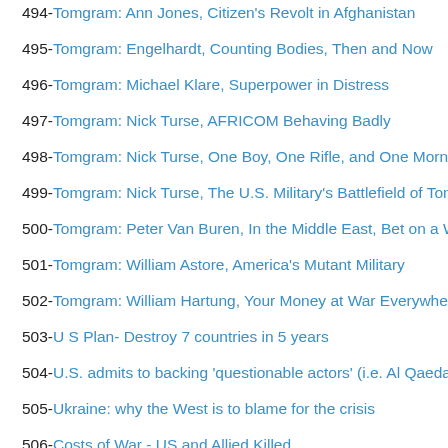494- Tomgram: Ann Jones, Citizen's Revolt in Afghanistan
495- Tomgram: Engelhardt, Counting Bodies, Then and Now
496- Tomgram: Michael Klare, Superpower in Distress
497- Tomgram: Nick Turse, AFRICOM Behaving Badly
498- Tomgram: Nick Turse, One Boy, One Rifle, and One Morning in M…
499- Tomgram: Nick Turse, The U.S. Military's Battlefield of Tomorrow
500- Tomgram: Peter Van Buren, In the Middle East, Bet on a Winner
501- Tomgram: William Astore, America's Mutant Military
502- Tomgram: William Hartung, Your Money at War Everywhere
503- U S Plan- Destroy 7 countries in 5 years
504- U.S. admits to backing 'questionable actors' (i.e. Al Qaeda/ISIS)
505- Ukraine: why the West is to blame for the crisis
506- Costs of War - US and Allied Killed